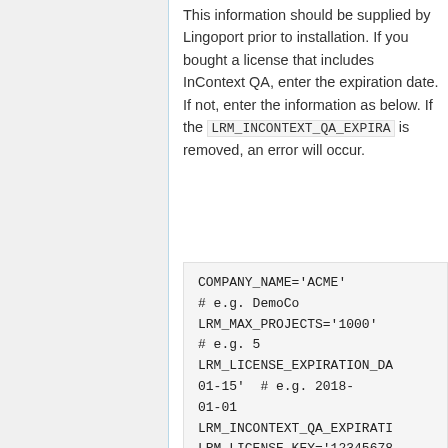This information should be supplied by Lingoport prior to installation. If you bought a license that includes InContext QA, enter the expiration date. If not, enter the information as below. If the LRM_INCONTEXT_QA_EXPIRA... is removed, an error will occur.
COMPANY_NAME='ACME'
# e.g. DemoCo
LRM_MAX_PROJECTS='1000'
# e.g. 5
LRM_LICENSE_EXPIRATION_DA...
01-15'  # e.g. 2018-01-01
LRM_INCONTEXT_QA_EXPIRATI...
LRM_LICENSE_KEY='12345678...